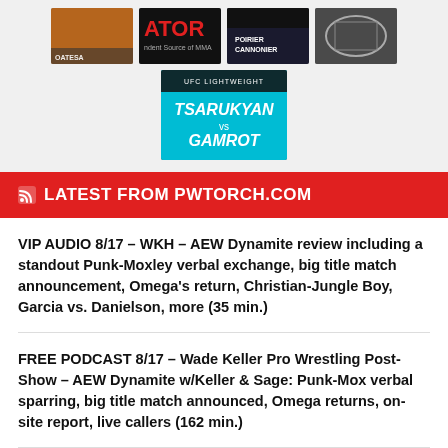[Figure (photo): Grid of MMA/wrestling event thumbnail images including ATOR MMA source logo, UFC fight poster (Tsarukyan vs Gamrot), and other event images]
LATEST FROM PWTORCH.COM
VIP AUDIO 8/17 – WKH – AEW Dynamite review including a standout Punk-Moxley verbal exchange, big title match announcement, Omega's return, Christian-Jungle Boy, Garcia vs. Danielson, more (35 min.)
FREE PODCAST 8/17 – Wade Keller Pro Wrestling Post-Show – AEW Dynamite w/Keller & Sage: Punk-Mox verbal sparring, big title match announced, Omega returns, on-site report, live callers (162 min.)
Major championship match set for AEW Dynamite next week